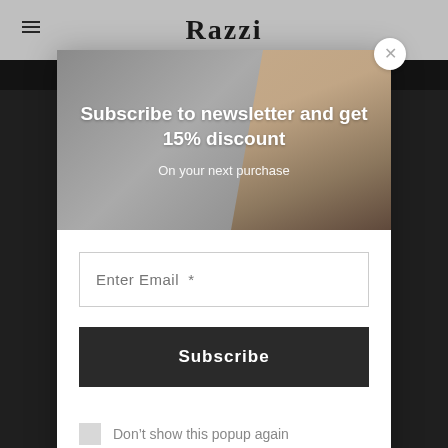[Figure (screenshot): E-commerce website background showing a dark header with hamburger menu icon, bold brand logo 'Razzi', and a dark background with car interior imagery]
[Figure (photo): Newsletter subscription popup modal with an image section showing a person's hand gripping a gear shift knob against a grey background]
Subscribe to newsletter and get 15% discount
On your next purchase
Enter Email *
Subscribe
Don’t show this popup again